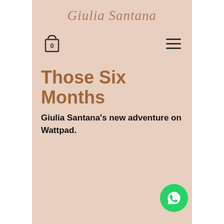Giulia Santana
[Figure (illustration): Shopping cart icon with number 0 and hamburger menu icon]
Those Six Months
Giulia Santana's new adventure on Wattpad.
[Figure (illustration): WhatsApp button (green circle with phone/chat icon) in bottom-right corner]